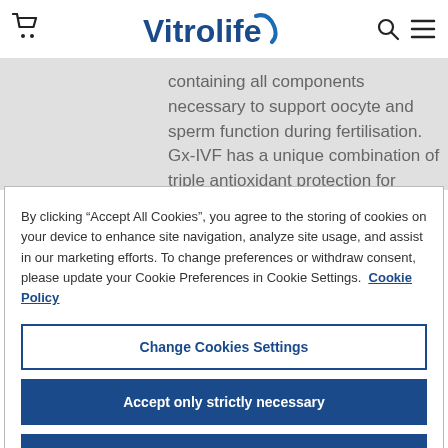Vitrolife [cart icon] [search icon] [menu icon]
containing all components necessary to support oocyte and sperm function during fertilisation. Gx-IVF has a unique combination of triple antioxidant protection for
By clicking “Accept All Cookies”, you agree to the storing of cookies on your device to enhance site navigation, analyze site usage, and assist in our marketing efforts. To change preferences or withdraw consent, please update your Cookie Preferences in Cookie Settings. Cookie Policy
Change Cookies Settings
Accept only strictly necessary
Accept All Cookies